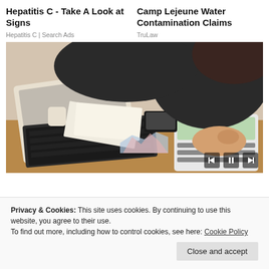Hepatitis C - Take A Look at Signs
Hepatitis C | Search Ads
Camp Lejeune Water Contamination Claims
TruLaw
[Figure (photo): Woman in dark clothing working at a desk with a laptop, calculator, papers, and a smartphone — business/accounting scene]
Privacy & Cookies: This site uses cookies. By continuing to use this website, you agree to their use.
To find out more, including how to control cookies, see here: Cookie Policy
Close and accept